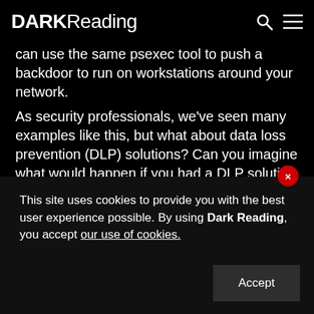DARK Reading
can use the same psexec tool to push a backdoor to run on workstations around your network.
As security professionals, we've seen many examples like this, but what about data loss prevention (DLP) solutions? Can you imagine what would happen if you had a DLP solution deployed and an attacker gained access? Not good. The attacker would have an instant road map of where to find all of the goodies in your enterprise. But let's say you don't have DLP and the attacker brings along his own?
This site uses cookies to provide you with the best user experience possible. By using Dark Reading, you accept our use of cookies.